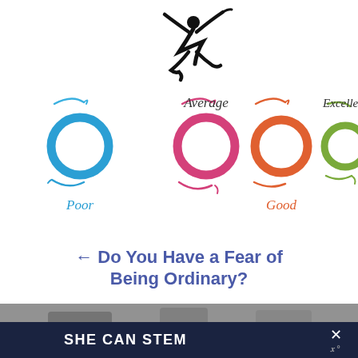[Figure (infographic): Rating scale infographic showing four colored ring icons labeled Poor (blue), Average (pink), Good (orange), Excellent (green), with swirl accents and a jumping silhouette figure at top center.]
← Do You Have a Fear of Being Ordinary?
[Figure (photo): Partial blurry outdoor photo at bottom of page.]
SHE CAN STEM ×